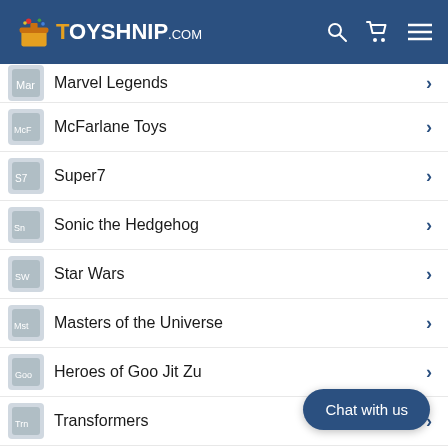TOYSHNIP.COM
Marvel Legends
McFarlane Toys
Super7
Sonic the Hedgehog
Star Wars
Masters of the Universe
Heroes of Goo Jit Zu
Transformers
Power Rangers
Mego